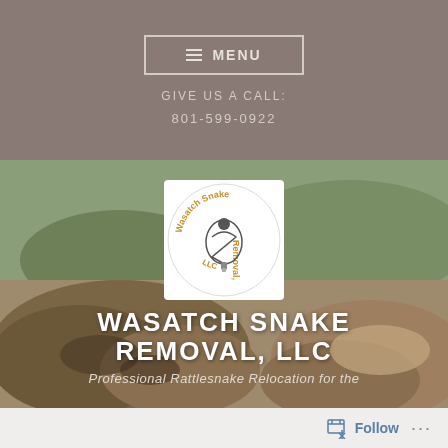≡ MENU
GIVE US A CALL:
801-599-0922
[Figure (logo): Wasatch Snake Removal LLC circular logo with snake illustration]
WASATCH SNAKE REMOVAL, LLC
Professional Rattlesnake Relocation for the
Follow ...